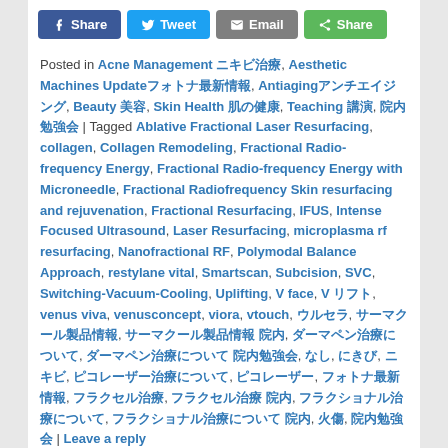[Figure (other): Social share buttons: Facebook Share, Twitter Tweet, Email, and green Share button]
Posted in Acne Management ニキビ治療, Aesthetic Machines Updateフォトナ最新情報, Antiagingアンチエイジング, Beauty 美容, Skin Health 肌の健康, Teaching 講演, 院内勉強会 | Tagged Ablative Fractional Laser Resurfacing, collagen, Collagen Remodeling, Fractional Radio-frequency Energy, Fractional Radio-frequency Energy with Microneedle, Fractional Radiofrequency Skin resurfacing and rejuvenation, Fractional Resurfacing, IFUS, Intense Focused Ultrasound, Laser Resurfacing, microplasma rf resurfacing, Nanofractional RF, Polymodal Balance Approach, restylane vital, Smartscan, Subcision, SVC, Switching-Vacuum-Cooling, Uplifting, V face, V リフト, venus viva, venusconcept, viora, vtouch, ウルセラ, サーマクール製品情報, サーマクール製品情報 院内, ダーマペン治療について, ダーマペン治療について 院内勉強会, なし, にきび, ニキビ, ピコレーザー治療について, ピコレーザー, フォトナ最新情報, フラクセル治療, フラクセル治療 院内, フラクショナル治療について, フラクショナル治療について 院内, 火傷, 院内勉強会 | Leave a reply
□□□□□□□□□□□
Posted on 2014/11/10